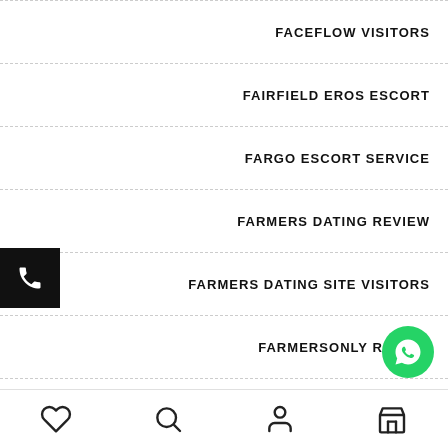FACEFLOW VISITORS
FAIRFIELD EROS ESCORT
FARGO ESCORT SERVICE
FARMERS DATING REVIEW
FARMERS DATING SITE VISITORS
FARMERSONLY REVIEW
FARMERSONLY VISITORS
FAST CASH PAYDAY LOANS
[Figure (screenshot): Black square phone call button on left side]
[Figure (screenshot): Green circular WhatsApp button on lower right]
[Figure (screenshot): Bottom navigation bar with heart, search, person, and store icons]